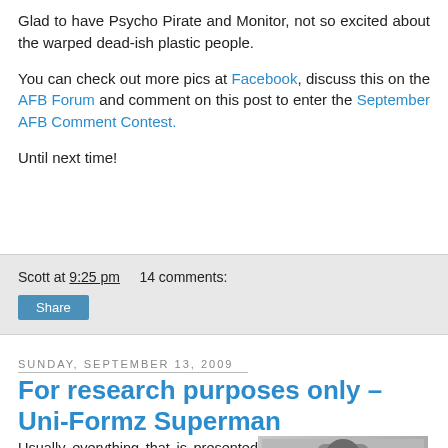Glad to have Psycho Pirate and Monitor, not so excited about the warped dead-ish plastic people.
You can check out more pics at Facebook, discuss this on the AFB Forum and comment on this post to enter the September AFB Comment Contest.
Until next time!
Scott at 9:25 pm    14 comments:
Share
Sunday, September 13, 2009
For research purposes only – Uni-Formz Superman
Usually everything that is presented here is purchased solely because I want it, but
[Figure (photo): Photo of Uni-Formz Superman figure against grey background]